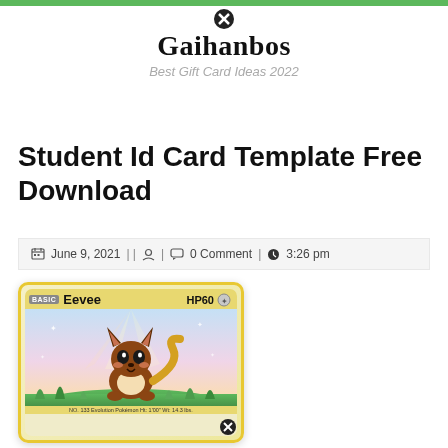Gaihanbos — Best Gift Card Ideas 2022
Student Id Card Template Free Download
June 9, 2021 | | 👤 | 💬 0 Comment | 🕐 3:26 pm
[Figure (illustration): Pokemon Eevee trading card with yellow border, showing Eevee character on colorful background. Card reads BASIC Eevee HP 60. Footer text: NO. 133 Evolution Pokemon Ht: 1'00" Wt: 14.3 lbs.]